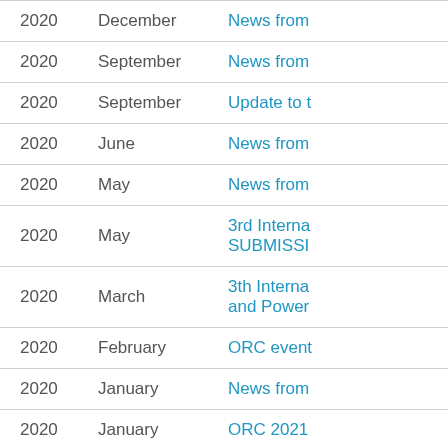| Year | Month | Link |
| --- | --- | --- |
| 2020 | December | News from |
| 2020 | September | News from |
| 2020 | September | Update to t |
| 2020 | June | News from |
| 2020 | May | News from |
| 2020 | May | 3rd Interna SUBMISSI |
| 2020 | March | 3th Interna and Power |
| 2020 | February | ORC event |
| 2020 | January | News from |
| 2020 | January | ORC 2021 |
| 2019 | December | Grant to inv |